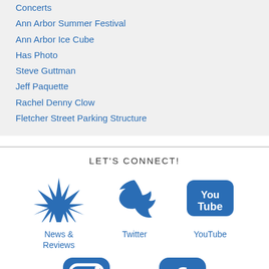Concerts
Ann Arbor Summer Festival
Ann Arbor Ice Cube
Has Photo
Steve Guttman
Jeff Paquette
Rachel Denny Clow
Fletcher Street Parking Structure
LET'S CONNECT!
[Figure (logo): News & Reviews icon - blue spiky starburst logo]
News & Reviews
[Figure (logo): Twitter blue bird logo]
Twitter
[Figure (logo): YouTube logo - blue rounded rectangle with You Tube text]
YouTube
[Figure (logo): Instagram logo - blue rounded rectangle with camera icon]
[Figure (logo): Facebook logo - blue rounded rectangle with f letter]